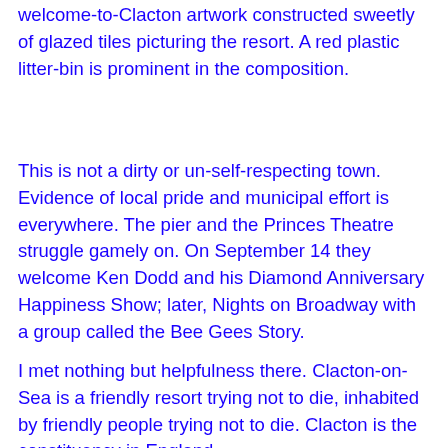welcome-to-Clacton artwork constructed sweetly of glazed tiles picturing the resort. A red plastic litter-bin is prominent in the composition.
This is not a dirty or un-self-respecting town. Evidence of local pride and municipal effort is everywhere. The pier and the Princes Theatre struggle gamely on. On September 14 they welcome Ken Dodd and his Diamond Anniversary Happiness Show; later, Nights on Broadway with a group called the Bee Gees Story.
I met nothing but helpfulness there. Clacton-on-Sea is a friendly resort trying not to die, inhabited by friendly people trying not to die. Clacton is the constituency in England